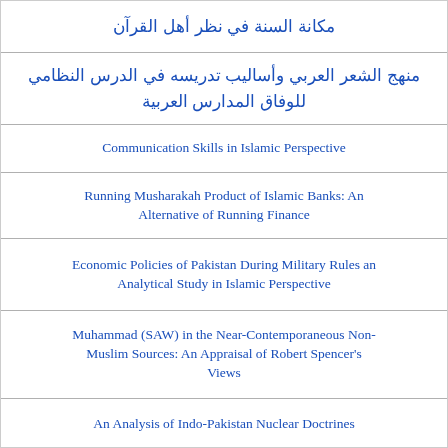مكانة السنة في نظر أهل القرآن
منهج الشعر العربي وأساليب تدريسه في الدرس النظامي للوفاق المدارس العربية
Communication Skills in Islamic Perspective
Running Musharakah Product of Islamic Banks: An Alternative of Running Finance
Economic Policies of Pakistan During Military Rules an Analytical Study in Islamic Perspective
Muhammad (SAW) in the Near-Contemporaneous Non-Muslim Sources: An Appraisal of Robert Spencer's Views
An Analysis of Indo-Pakistan Nuclear Doctrines